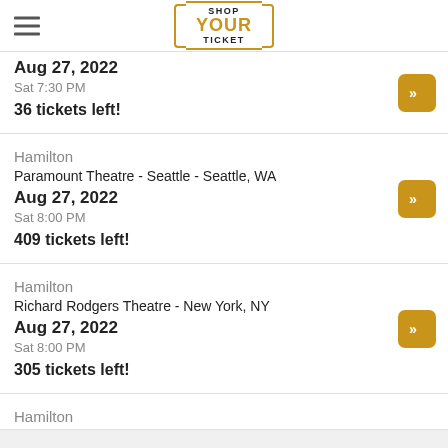Shop Your Ticket
Aug 27, 2022
Sat 7:30 PM
36 tickets left!
Hamilton
Paramount Theatre - Seattle - Seattle, WA
Aug 27, 2022
Sat 8:00 PM
409 tickets left!
Hamilton
Richard Rodgers Theatre - New York, NY
Aug 27, 2022
Sat 8:00 PM
305 tickets left!
Hamilton